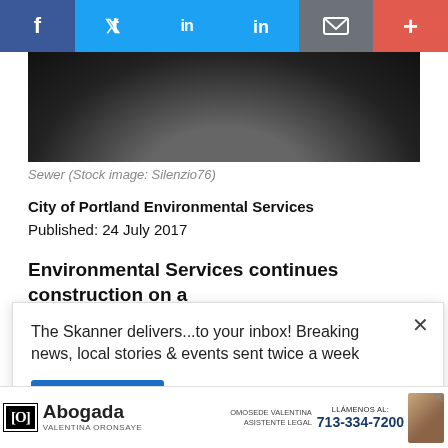[Figure (other): Social media sharing bar with icons for Facebook, Twitter, LinkedIn, email/bookmark, and plus/more]
[Figure (photo): Dark sewer pipe interior photograph (stock image)]
Sewer (Stock image: Silenzio76)
City of Portland Environmental Services
Published: 24 July 2017
Environmental Services continues construction on a
The Skanner delivers...to your inbox! Breaking news, local stories & events sent twice a week
[Figure (screenshot): Victoria's Secret advertisement - Shop the Collection]
[Figure (screenshot): Abogada Valentina Oronsaye advertisement with phone number 713-334-7200]